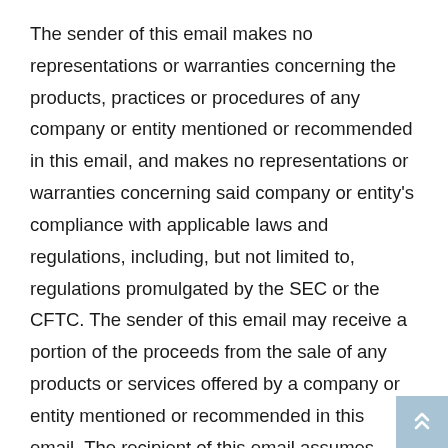The sender of this email makes no representations or warranties concerning the products, practices or procedures of any company or entity mentioned or recommended in this email, and makes no representations or warranties concerning said company or entity's compliance with applicable laws and regulations, including, but not limited to, regulations promulgated by the SEC or the CFTC. The sender of this email may receive a portion of the proceeds from the sale of any products or services offered by a company or entity mentioned or recommended in this email. The recipient of this email assumes responsibility for conducting its own due diligence on the aforementioned company or entity and assumes full responsibility, and releases the sender from liability, for any purchase or order made from any company or entity mentioned or recommended in this email.